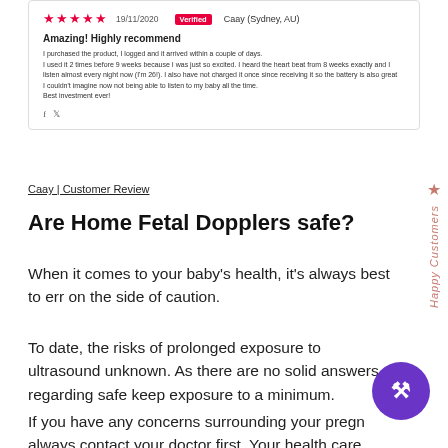[Figure (screenshot): Customer review box with 5-star rating from Caay (Sydney, AU) dated 19/11/2020. Verified badge. Title: 'Amazing! Highly recommend'. Review body text about fetal doppler experience. Social sharing icons.]
Caay | Customer Review
Are Home Fetal Dopplers safe?
When it comes to your baby’s health, it’s always best to err on the side of caution.
To date, the risks of prolonged exposure to ultrasound unknown. As there are no solid answers regarding safe keep exposure to a minimum.
If you have any concerns surrounding your pregn always contact your doctor first. Your health care pr er trained for many years to use these various devices.